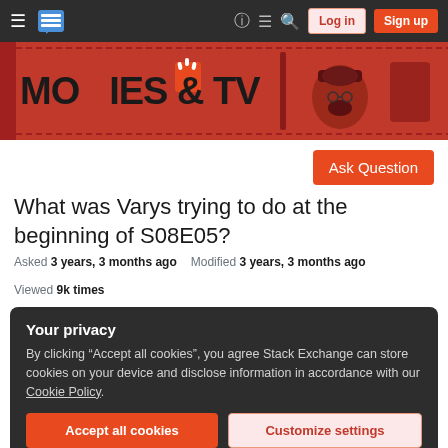Stack Exchange navigation bar with hamburger menu, logo, help, chat, search icons, Log in and Sign up buttons
[Figure (illustration): Movies & TV Stack Exchange banner in red/dark red with large bold text 'MOVIES & TV' and illustrated characters including a man with hat and beard]
Ask Question
What was Varys trying to do at the beginning of S08E05?
Asked 3 years, 3 months ago   Modified 3 years, 3 months ago   Viewed 9k times
Your privacy
By clicking "Accept all cookies", you agree Stack Exchange can store cookies on your device and disclose information in accordance with our Cookie Policy.
Accept all cookies   Customize settings